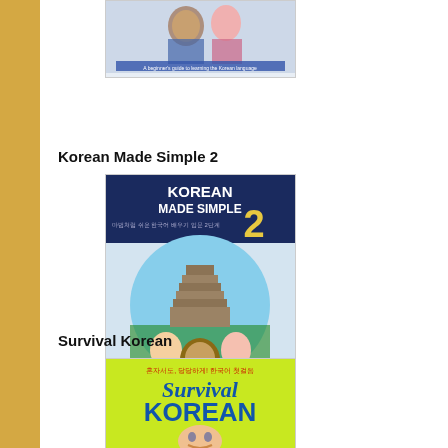[Figure (illustration): Book cover of Korean Made Simple 1 - partial view at top of page, showing cartoon characters and title text]
Korean Made Simple 2
[Figure (illustration): Book cover of Korean Made Simple 2 - blue cover with cartoon characters (man, woman, bear) in front of a Korean stone pagoda, and the title 'KOREAN MADE SIMPLE 2' in large text]
Survival Korean
[Figure (illustration): Book cover of Survival Korean - bright green/yellow cover showing 'Survival Korean' in stylized text with a smiling Western man's face at the bottom, Korean text at top]